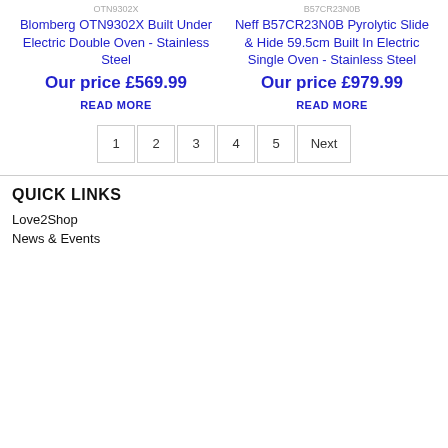OTN9302X
Blomberg OTN9302X Built Under Electric Double Oven - Stainless Steel
Our price £569.99
READ MORE
B57CR23N0B
Neff B57CR23N0B Pyrolytic Slide & Hide 59.5cm Built In Electric Single Oven - Stainless Steel
Our price £979.99
READ MORE
1
2
3
4
5
Next
QUICK LINKS
Love2Shop
News & Events